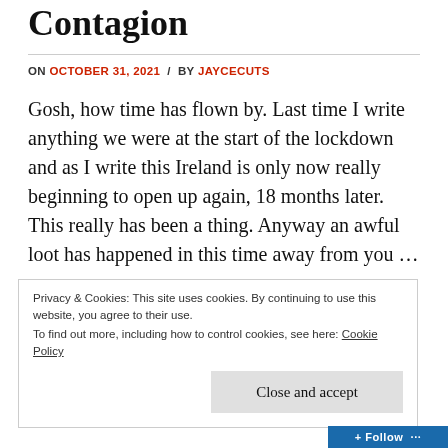Contagion
ON OCTOBER 31, 2021 / BY JAYCECUTS
Gosh, how time has flown by. Last time I write anything we were at the start of the lockdown and as I write this Ireland is only now really beginning to open up again, 18 months later. This really has been a thing. Anyway an awful loot has happened in this time away from you …
Privacy & Cookies: This site uses cookies. By continuing to use this website, you agree to their use.
To find out more, including how to control cookies, see here: Cookie Policy